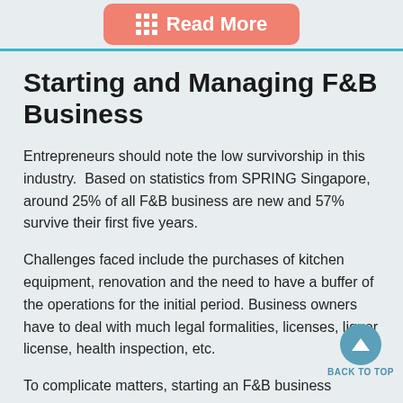Read More
Starting and Managing F&B Business
Entrepreneurs should note the low survivorship in this industry.  Based on statistics from SPRING Singapore, around 25% of all F&B business are new and 57% survive their first five years.
Challenges faced include the purchases of kitchen equipment, renovation and the need to have a buffer of the operations for the initial period. Business owners have to deal with much legal formalities, licenses, liquor license, health inspection, etc.
To complicate matters, starting an F&B business